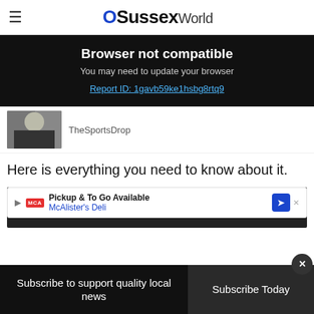OSussex World
Browser not compatible
You may need to update your browser
Report ID: 1gavb59ke1hsbg8rtq9
[Figure (photo): Thumbnail image of a person in a black outfit]
TheSportsDrop
Here is everything you need to know about it.
[Figure (screenshot): Dark video player area with McAlister's Deli advertisement: Pickup & To Go Available]
Subscribe to support quality local news
Subscribe Today